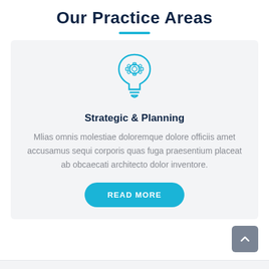Our Practice Areas
[Figure (illustration): Light bulb icon with a gear/cog inside, drawn in cyan/teal outline style]
Strategic & Planning
Mlias omnis molestiae doloremque dolore officiis amet accusamus sequi corporis quas fuga praesentium placeat ab obcaecati architecto dolor inventore.
READ MORE